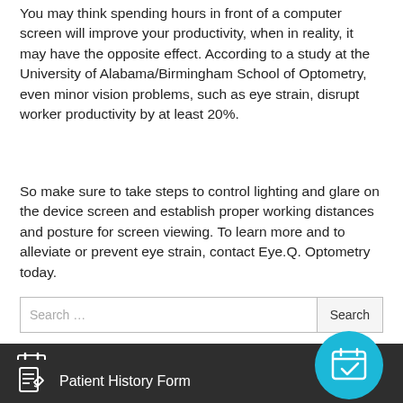You may think spending hours in front of a computer screen will improve your productivity, when in reality, it may have the opposite effect. According to a study at the University of Alabama/Birmingham School of Optometry, even minor vision problems, such as eye strain, disrupt worker productivity by at least 20%.
So make sure to take steps to control lighting and glare on the device screen and establish proper working distances and posture for screen viewing. To learn more and to alleviate or prevent eye strain, contact Eye.Q. Optometry today.
Search …
Request An Appointment
Patient History Form